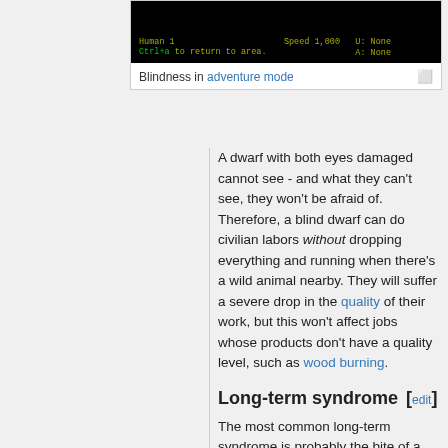[Figure (screenshot): Terminal/game screen showing Dwarf Fortress adventure mode with blindness effect. Black screen with green/yellow text showing 'Human 1', 'Ctrl+a to return to area.', 'Speed 1,000', 'U: None', 'A: None']
Blindness in adventure mode
A dwarf with both eyes damaged cannot see - and what they can't see, they won't be afraid of. Therefore, a blind dwarf can do civilian labors without dropping everything and running when there's a wild animal nearby. They will suffer a severe drop in the quality of their work, but this won't affect jobs whose products don't have a quality level, such as wood burning.
Long-term syndrome [edit]
The most common long-term syndrome is probably the bite of a